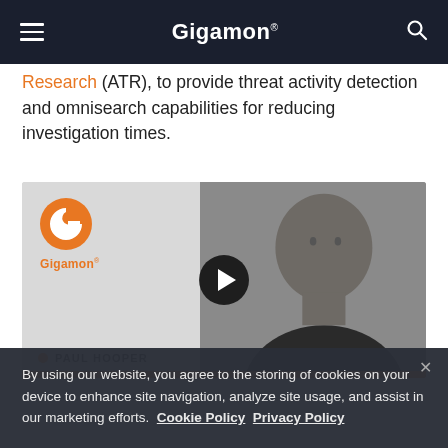Gigamon
Research (ATR), to provide threat activity detection and omnisearch capabilities for reducing investigation times.
[Figure (screenshot): Gigamon video thumbnail showing a man and Gigamon logo with a play button, and name label PAUL HOOPER at the bottom.]
By using our website, you agree to the storing of cookies on your device to enhance site navigation, analyze site usage, and assist in our marketing efforts.  Cookie Policy  Privacy Policy